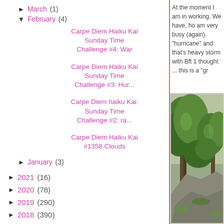► March (1)
▼ February (4)
Carpe Diem Haiku Kai Sunday Time Challenge #4: War
Carpe Diem Haiku Kai Sunday Time Challenge #3: Hur...
Carpe Diem haiku Kai: Sunday Time Challenge #2: ra...
Carpe Diem Haiku Kai #1358 Clouds
► January (3)
► 2021 (16)
► 2020 (78)
► 2019 (290)
► 2018 (390)
► 2017 (370)
At the moment I am in working. We have, ho am very busy (again). "hurricane" and that's heavy storm with Bft 1 thought ... this is a "gr
[Figure (photo): Photo of a forest with trees and green foliage against a rocky background]